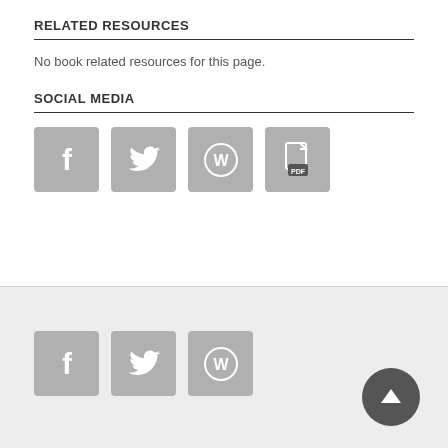RELATED RESOURCES
No book related resources for this page.
SOCIAL MEDIA
[Figure (other): Social media icons: Facebook, Twitter, WordPress, PDF]
Footer with Facebook, Twitter, WordPress icons and back-to-top button